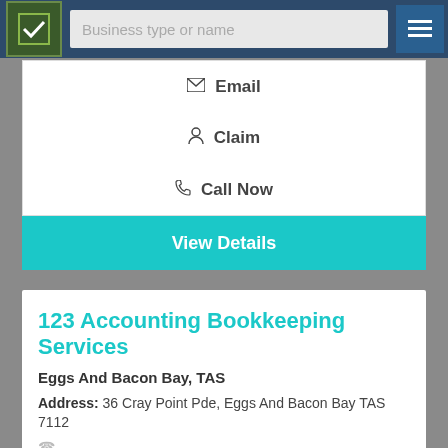[Figure (screenshot): Navigation bar with logo, search box labeled 'Business type or name', and hamburger menu icon]
✉ Email
👤 Claim
📞 Call Now
View Details
123 Accounting Bookkeeping Services
Eggs And Bacon Bay, TAS
Address: 36 Cray Point Pde, Eggs And Bacon Bay TAS 7112